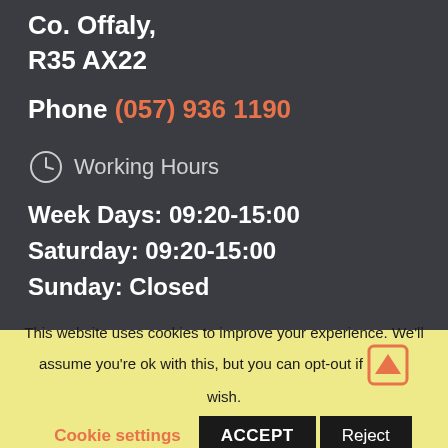Co. Offaly,
R35 AX22
Phone (057) 936 1190
Working Hours
Week Days: 09:20-15:00
Saturday: 09:20-15:00
Sunday: Closed
This website uses cookies to improve your experience. We'll assume you're ok with this, but you can opt-out if you wish.
Cookie settings | ACCEPT | Reject